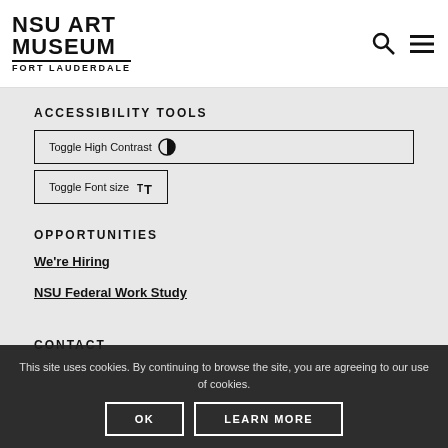NSU ART MUSEUM FORT LAUDERDALE
ACCESSIBILITY TOOLS
Toggle High Contrast
Toggle Font size
OPPORTUNITIES
We're Hiring
NSU Federal Work Study
CONTACT
This site uses cookies. By continuing to browse the site, you are agreeing to our use of cookies.
OK
LEARN MORE